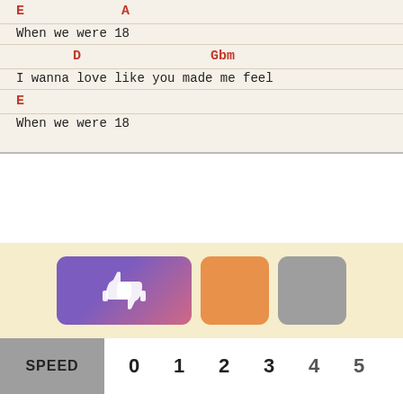E    A
When we were 18
D    Gbm
I wanna love like you made me feel
E
When we were 18
[Figure (other): Thumbs up and thumbs down rating buttons (purple/pink gradient), an orange button, and a gray button on a cream background]
SPEED   0   1   2   3   4   5
remove these ads
[Figure (other): Filter/funnel icon on left, close (X) circle button on right]
This work and . You may only use this for private study, scholarship, or research. UkuTabs does not own any songs, lyrics or
[Figure (other): Disney Bundle advertisement banner with Hulu, Disney+, ESPN+ logos and GET THE DISNEY BUNDLE call to action]